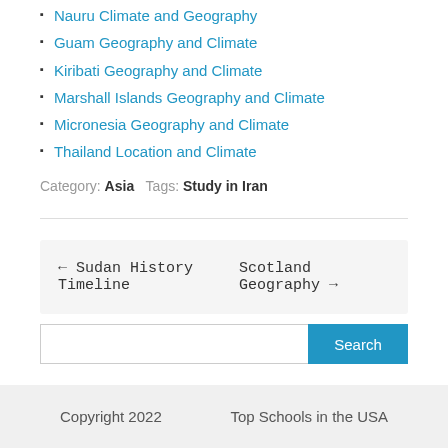Nauru Climate and Geography
Guam Geography and Climate
Kiribati Geography and Climate
Marshall Islands Geography and Climate
Micronesia Geography and Climate
Thailand Location and Climate
Category: Asia  Tags: Study in Iran
← Sudan History Timeline    Scotland Geography →
Search
Copyright 2022    Top Schools in the USA